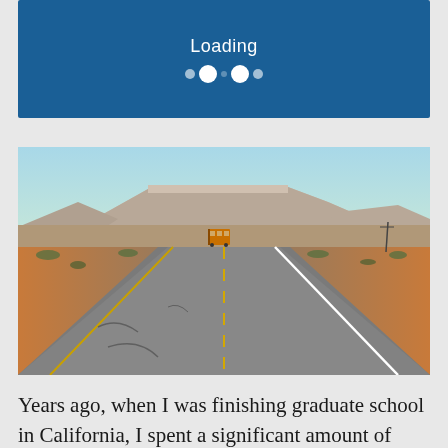[Figure (screenshot): Loading banner with blue background showing 'Loading' text and animated dots (two small and two large white circles)]
[Figure (photo): A two-lane desert highway stretching into the distance with a school bus visible in the middle of the road, red rock mesa formations in the background under a clear sky]
Years ago, when I was finishing graduate school in California, I spent a significant amount of time